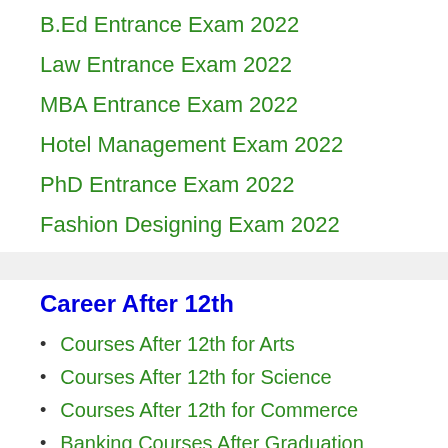B.Ed Entrance Exam 2022
Law Entrance Exam 2022
MBA Entrance Exam 2022
Hotel Management Exam 2022
PhD Entrance Exam 2022
Fashion Designing Exam 2022
Career After 12th
Courses After 12th for Arts
Courses After 12th for Science
Courses After 12th for Commerce
Banking Courses After Graduation
Courses for 12th Failed Students